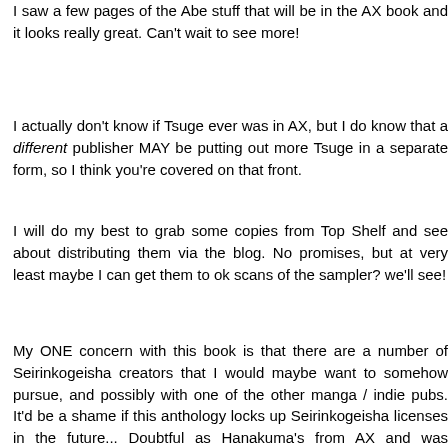I saw a few pages of the Abe stuff that will be in the AX book and it looks really great. Can't wait to see more!
I actually don't know if Tsuge ever was in AX, but I do know that a different publisher MAY be putting out more Tsuge in a separate form, so I think you're covered on that front.
I will do my best to grab some copies from Top Shelf and see about distributing them via the blog. No promises, but at very least maybe I can get them to ok scans of the sampler? we'll see!
My ONE concern with this book is that there are a number of Seirinkogeisha creators that I would maybe want to somehow pursue, and possibly with one of the other manga / indie pubs. It'd be a shame if this anthology locks up Seirinkogeisha licenses in the future... Doubtful as Hanakuma's from AX and was licensed by Last Gasp, but I'm interested to see how that goes...
Ryan!
Reply